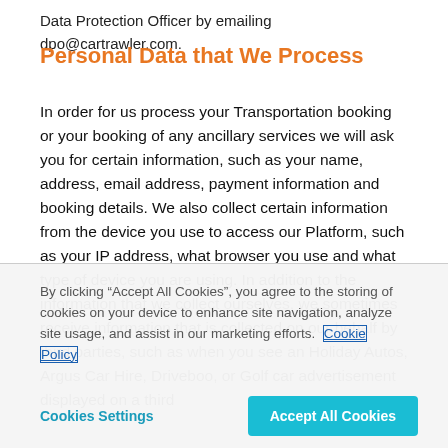Data Protection Officer by emailing dpo@cartrawler.com.
Personal Data that We Process
In order for us process your Transportation booking or your booking of any ancillary services we will ask you for certain information, such as your name, address, email address, payment information and booking details. We also collect certain information from the device you use to access our Platform, such as your IP address, what browser you use and what type of device you are using. In addition to the information that we collect ourselves, we sometimes receive information that is collected on our behalf by third parties, such as when you see an Holiday Autos, Argus Car Hire, Driveboo, or Golf car advertisement displayed on a third
By clicking “Accept All Cookies”, you agree to the storing of cookies on your device to enhance site navigation, analyze site usage, and assist in our marketing efforts. Cookie Policy